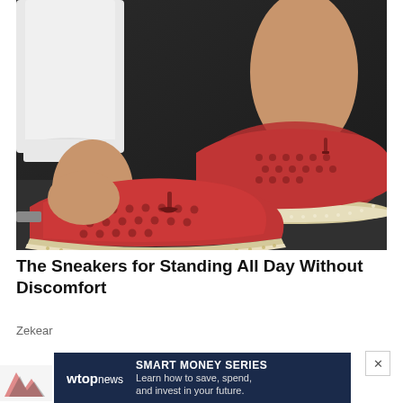[Figure (photo): Close-up photo of two red suede sneakers with perforated pattern and white espadrille-style soles with stitching detail, worn with white cropped jeans on a dark ground surface]
The Sneakers for Standing All Day Without Discomfort
Zekear
[Figure (screenshot): Advertisement banner for WTOP news Smart Money Series - dark navy background with wtop news logo on left and text 'SMART MONEY SERIES - Learn how to save, spend, and invest in your future.' on the right]